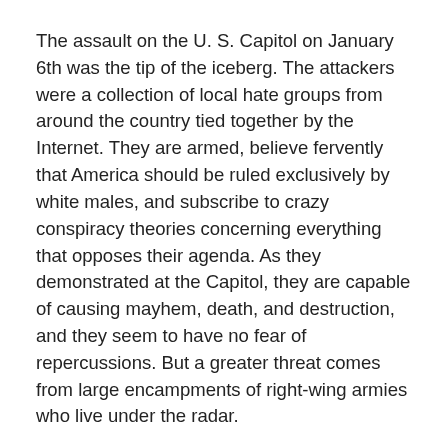The assault on the U. S. Capitol on January 6th was the tip of the iceberg. The attackers were a collection of local hate groups from around the country tied together by the Internet. They are armed, believe fervently that America should be ruled exclusively by white males, and subscribe to crazy conspiracy theories concerning everything that opposes their agenda. As they demonstrated at the Capitol, they are capable of causing mayhem, death, and destruction, and they seem to have no fear of repercussions. But a greater threat comes from large encampments of right-wing armies who live under the radar.
Most people who read that will scoff. That's just a fairy tale to scare children with on dark stormy nights – but it's not. Ask anyone who lives in the Pacific Northwest. The liberal